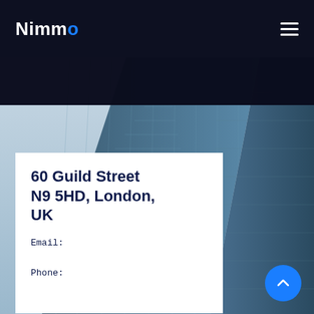Nimmo
[Figure (photo): Aerial/upward view of a modern glass office building/skyscraper with blue-grey reflective glass facade against a light sky background]
60 Guild Street N9 5HD, London, UK
Email:
Phone: